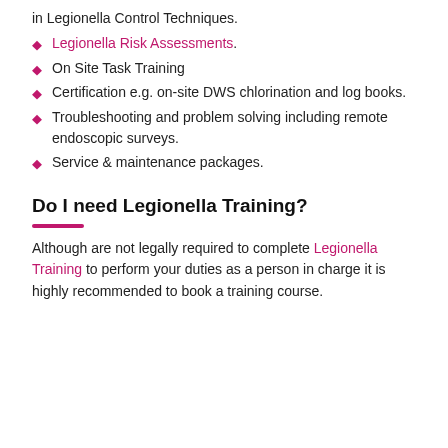in Legionella Control Techniques.
Legionella Risk Assessments.
On Site Task Training
Certification e.g. on-site DWS chlorination and log books.
Troubleshooting and problem solving including remote endoscopic surveys.
Service & maintenance packages.
Do I need Legionella Training?
Although are not legally required to complete Legionella Training to perform your duties as a person in charge it is highly recommended to book a training course.